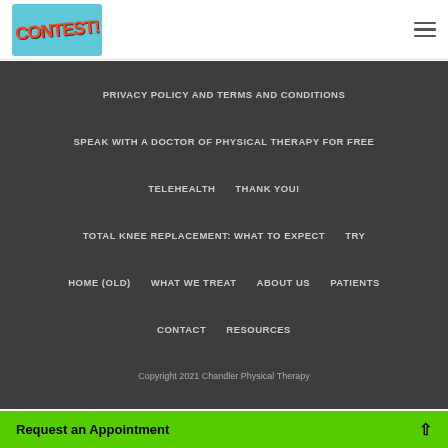[Figure (logo): Contest! logo on teal/cyan background with red stylized text]
PRIVACY POLICY AND TERMS AND CONDITIONS
SPEAK WITH A DOCTOR OF PHYSICAL THERAPY FOR FREE
TELEHEALTH
THANK YOU!
TOTAL KNEE REPLACEMENT: WHAT TO EXPECT
TRY
HOME (OLD)
WHAT WE TREAT
ABOUT US
PATIENTS
CONTACT
RESOURCES
Copyright 2021 Chandler Physical Therapy
Request an Appointment